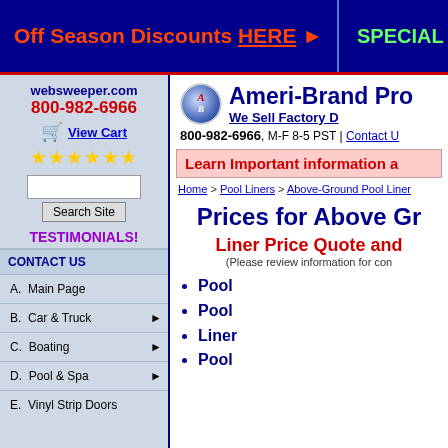Off Season Discounts HERE ► | SPECIAL REQU
websweeper.com
800-982-6966
View Cart
★★★★★★
Search Site
TESTIMONIALS!
CONTACT US
A.  Main Page
B.  Car & Truck ►
C.  Boating ►
D.  Pool & Spa ►
E.  Vinyl Strip Doors
Ameri-Brand Pro
We Sell Factory D
800-982-6966, M-F 8-5 PST | Contact U
Learn Important information a
Home > Pool Liners > Above-Ground Pool Liner
Prices for Above Gr
Liner Price Quote and
(Please review information for con
Pool
Pool
Liner
Pool